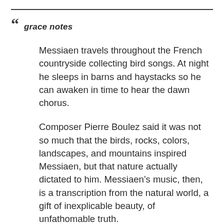grace notes
Messiaen travels throughout the French countryside collecting bird songs. At night he sleeps in barns and haystacks so he can awaken in time to hear the dawn chorus.
Composer Pierre Boulez said it was not so much that the birds, rocks, colors, landscapes, and mountains inspired Messiaen, but that nature actually dictated to him. Messiaen’s music, then, is a transcription from the natural world, a gift of inexplicable beauty, of unfathomable truth.